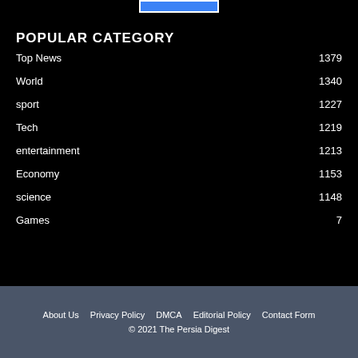POPULAR CATEGORY
Top News  1379
World  1340
sport  1227
Tech  1219
entertainment  1213
Economy  1153
science  1148
Games  7
About Us  Privacy Policy  DMCA  Editorial Policy  Contact Form
© 2021 The Persia Digest